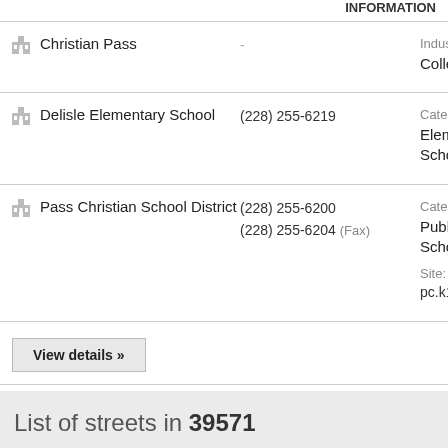INFORMATION
Christian Pass | Industry: College/University
Delisle Elementary School | (228) 255-6219 | Categories: Elementary Schools
Pass Christian School District | (228) 255-6200 | (228) 255-6204 (Fax) | Categories: Public Schools | Site: pc.k12.ms.us
View details »
List of streets in 39571
Second St